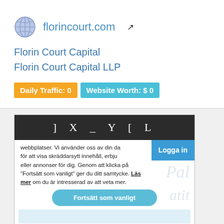florincourt.com
Florin Court Capital
Florin Court Capital LLP
Daily Traffic: 0
Website Worth: $ 0
[Figure (screenshot): Screenshot of florincourt.com website with a dark header bar showing ] X _ Y [ L, a cookie consent overlay in Swedish saying 'Vi använder oss av din da... för att visa skräddarsytt innehåll, erbju... eller annonser för dig. Genom att klicka på "Fortsätt som vanligt" ger du ditt samtycke. Läs mer om du är intresserad av att veta mer.' with a blue Logga in button and a teal 'Fortsätt som vanligt' button, and a Siteprice.org watermark bar at the bottom.]